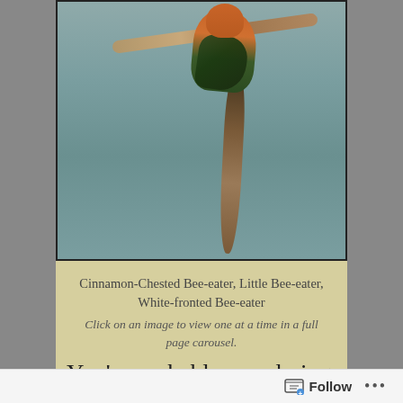[Figure (photo): A bird (bee-eater) perched on a bare branch, viewed from the back. The bird has a cinnamon/orange chest, green and dark blue-black wings and body, and a long narrow tail hanging downward. The background is a soft blue-grey blur.]
Cinnamon-Chested Bee-eater, Little Bee-eater, White-fronted Bee-eater
Click on an image to view one at a time in a full page carousel.
You're probably wondering what
Follow ...